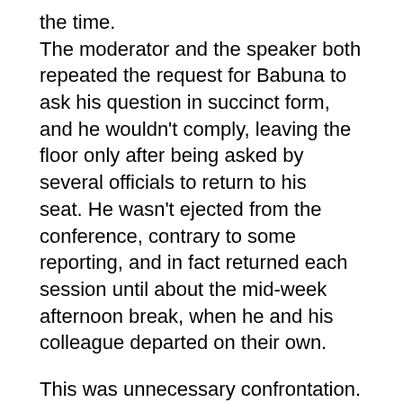the time. The moderator and the speaker both repeated the request for Babuna to ask his question in succinct form, and he wouldn't comply, leaving the floor only after being asked by several officials to return to his seat. He wasn't ejected from the conference, contrary to some reporting, and in fact returned each session until about the mid-week afternoon break, when he and his colleague departed on their own.
This was unnecessary confrontation. Intelligent D...